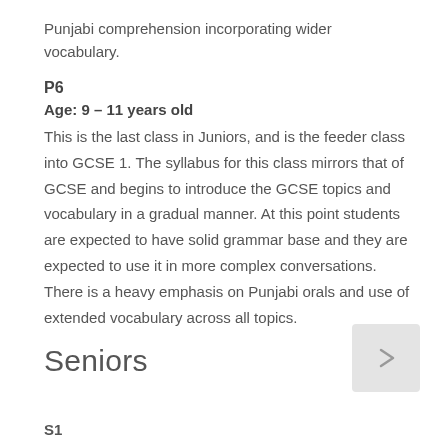Punjabi comprehension incorporating wider vocabulary.
P6
Age: 9 – 11 years old
This is the last class in Juniors, and is the feeder class into GCSE 1. The syllabus for this class mirrors that of GCSE and begins to introduce the GCSE topics and vocabulary in a gradual manner. At this point students are expected to have solid grammar base and they are expected to use it in more complex conversations. There is a heavy emphasis on Punjabi orals and use of extended vocabulary across all topics.
Seniors
S1